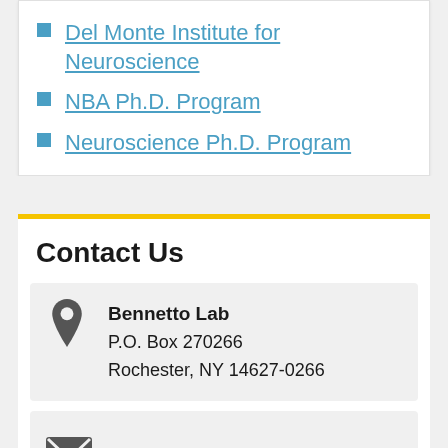Del Monte Institute for Neuroscience
NBA Ph.D. Program
Neuroscience Ph.D. Program
Contact Us
Bennetto Lab
P.O. Box 270266
Rochester, NY 14627-0266
AutismResearch@ur.rochester.edu